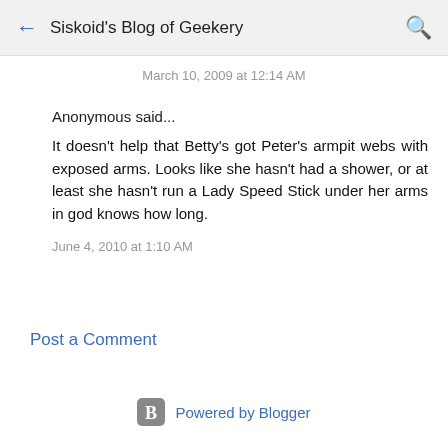Siskoid's Blog of Geekery
March 10, 2009 at 12:14 AM
Anonymous said...
It doesn't help that Betty's got Peter's armpit webs with exposed arms. Looks like she hasn't had a shower, or at least she hasn't run a Lady Speed Stick under her arms in god knows how long.
June 4, 2010 at 1:10 AM
Post a Comment
Powered by Blogger